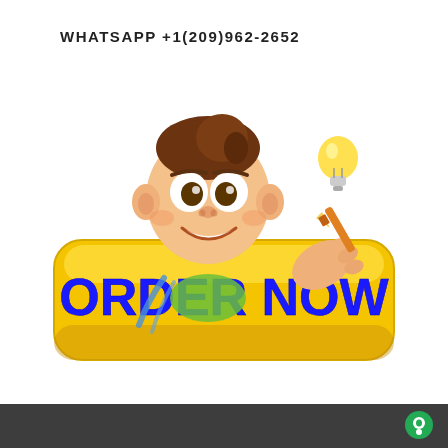WHATSAPP +1(209)962-2652
[Figure (illustration): Cartoon character of a smiling young man with brown hair, holding a lightbulb, leaning over a large yellow rounded button that reads ORDER NOW in bold blue text.]